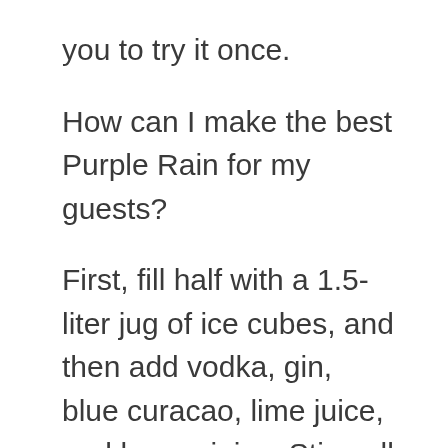you to try it once.
How can I make the best Purple Rain for my guests?
First, fill half with a 1.5-liter jug of ice cubes, and then add vodka, gin, blue curacao, lime juice, and lemon juice. Stir well until the ingredients are well blended. Finally, add soda water, Grenadine, and more ice, and then keep stirring. Take four high glass glasses and fill them with ice; pour the Cocktail gently